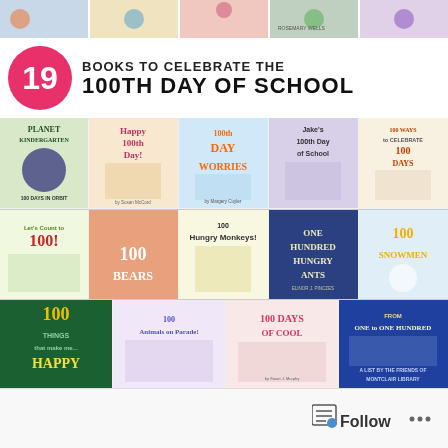[Figure (illustration): Strip of children's book covers at the top of the image collage]
19 BOOKS TO CELEBRATE THE 100TH DAY OF SCHOOL
[Figure (illustration): Grid of 19 children's book covers for the 100th Day of School, including: Planet Kindergarten (100 Days in Orbit), Happy 100th Day!, 100th Day Worries, Jake's 100th Day of School, 100 Ways to Celebrate 100 Days, Let's Count to 100!, 100 Bears, 100 Hungry Monkeys!, One Hundred Hungry Ants, 100 Snowmen, 100 Things That Make Me Happy, 100 Animals on Parade!, 100 Days of Cool, From One to One Hundred (A List by the Friends of Montclair Library)]
[Figure (screenshot): Social media follow button interface at the bottom of the page, showing a Follow button with icon and ellipsis menu]